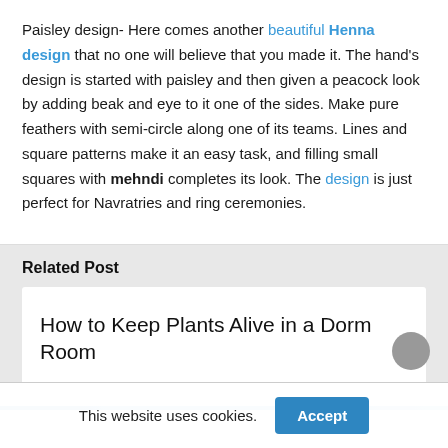Paisley design- Here comes another beautiful Henna design that no one will believe that you made it. The hand's design is started with paisley and then given a peacock look by adding beak and eye to it one of the sides. Make pure feathers with semi-circle along one of its teams. Lines and square patterns make it an easy task, and filling small squares with mehndi completes its look. The design is just perfect for Navratries and ring ceremonies.
Related Post
How to Keep Plants Alive in a Dorm Room
This website uses cookies.